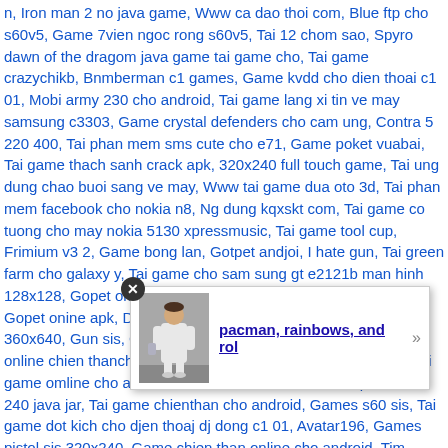n, Iron man 2 no java game, Www ca dao thoi com, Blue ftp cho s60v5, Game 7vien ngoc rong s60v5, Tai 12 chom sao, Spyro dawn of the dragom java game tai game cho, Tai game crazychikb, Bnmberman c1 games, Game kvdd cho dien thoai c1 01, Mobi army 230 cho android, Tai game lang xi tin ve may samsung c3303, Game crystal defenders cho cam ung, Contra 5 220 400, Tai phan mem sms cute cho e71, Game poket vuabai, Tai game thach sanh crack apk, 320x240 full touch game, Tai ung dung chao buoi sang ve may, Www tai game dua oto 3d, Tai phan mem facebook cho nokia n8, Ng dung kqxskt com, Tai game co tuong cho may nokia 5130 xpressmusic, Tai game tool cup, Frimium v3 2, Game bong lan, Gotpet andjoi, I hate gun, Tai green farm cho galaxy y, Tai game cho sam sung gt e2121b man hinh 128x128, Gopet online cho may apk, Gopet online cho androil, Gopet onine apk, Dowload game tra chanh quan man hinh 360x640, Gun sis, Game gopet apk, Gems sis s60, Tai game online chien thancho apk, Game dua xe danh cho may 6085, Tai game omline cho asha 310, Games sis s60, Tai mien phi avatar 240 java jar, Tai game chienthan cho android, Games s60 sis, Tai game dot kich cho djen thoaj dj dong c1 01, Avatar196, Games pistol sis 320x240, Game chien than online cho android, Tim game tu chien tam ma viet ho, Games i hate guns s60v3 240 320, Game chien than cho android, Tai trinh gia lap cho dt, Tai luxor 2 crack cho mobile, Game sieu dai chien cho java, Tai game fruit ninja 320x240, Avatar196 auto cho dien thoai, Game sis, Chien than android apk, Tai phan mem diet vi rut ve dt c3, Tai game tower defense xay thap phong thu hack, Game brain cua nokia, Game sis cho s60v2 176x208, Avatar premium v3 2 apk, Ung dung ban do cho nokia x3 02, Tai apk gunny crack, Game sis cho dien thoai nokia, Hack ongame 255, Tai hack game nhat kie, Game sis 7610, Pha, ky online dung luon, ve dien thoai sam, o apk, Tai game kiem the mobi apk, Avatar auto kiss jar, Tai phan mem diet vj rut crack cho
[Figure (photo): A popup overlay containing a small thumbnail photo of a person in white outfit, and a bold underlined link text reading 'pacman, rainbows, and rol' with a right-arrow button. A close button (X) appears in the top-left of the popup.]